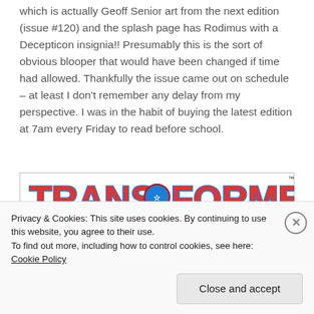which is actually Geoff Senior art from the next edition (issue #120) and the splash page has Rodimus with a Decepticon insignia!! Presumably this is the sort of obvious blooper that would have been changed if time had allowed. Thankfully the issue came out on schedule – at least I don't remember any delay from my perspective. I was in the habit of buying the latest edition at 7am every Friday to read before school.
[Figure (illustration): Transformers comic book cover showing the TRANSFORMERS logo in blue and red letters at the top, and below it the title 'FIRE ON HIGH' in large red letters on a light blue background.]
Privacy & Cookies: This site uses cookies. By continuing to use this website, you agree to their use.
To find out more, including how to control cookies, see here: Cookie Policy
Close and accept